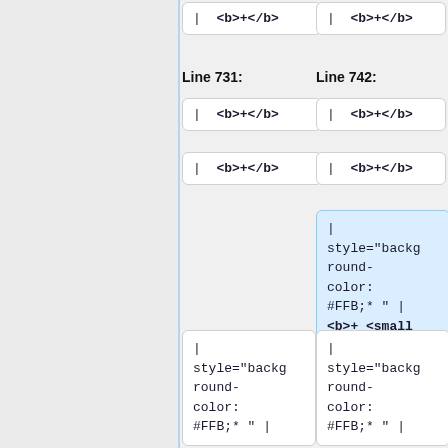| <b>+</b>
| <b>+</b>
Line 731:
Line 742:
| <b>+</b>
| <b>+</b>
| <b>+</b>
| <b>+</b>
| style="background-color: #FFB;* " | <b>+ <small style="font-size:60%;">5</small></b>
| style="background-color: #FFB;* " |
| style="background-color: #FFB;* " |